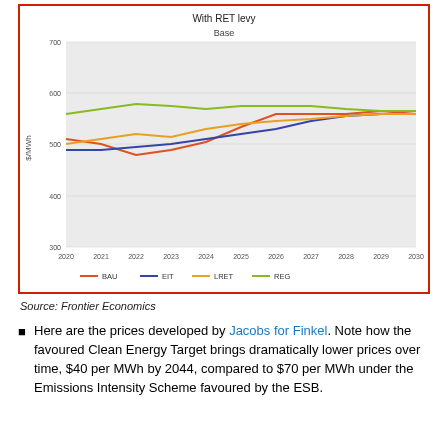[Figure (line-chart): With RET levy — Base]
Source: Frontier Economics
Here are the prices developed by Jacobs for Finkel. Note how the favoured Clean Energy Target brings dramatically lower prices over time, $40 per MWh by 2044, compared to $70 per MWh under the Emissions Intensity Scheme favoured by the ESB.